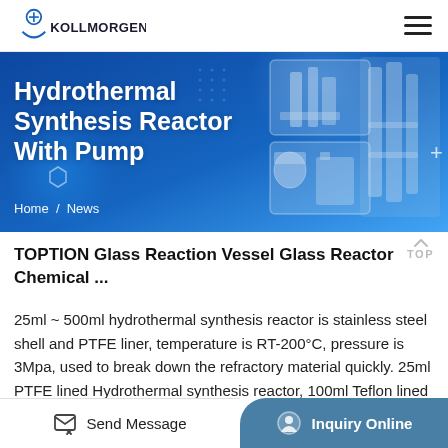KOLLMORGEN
[Figure (photo): Hero banner: Hydrothermal Synthesis Reactor With Pump product page banner with blue gradient background and industrial equipment photos on the right side.]
Hydrothermal Synthesis Reactor With Pump
Home / News
TOPTION Glass Reaction Vessel Glass Reactor Chemical ...
25ml ~ 500ml hydrothermal synthesis reactor is stainless steel shell and PTFE liner, temperature is RT-200°C, pressure is 3Mpa, used to break down the refractory material quickly. 25ml PTFE lined Hydrothermal synthesis reactor, 100ml Teflon lined
Send Message    Inquiry Online